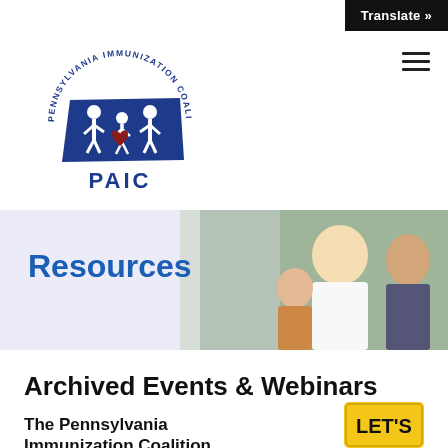Translate »
[Figure (logo): Pennsylvania Immunization Coalition (PAIC) logo — circular badge with 'PENNSYLVANIA IMMUNIZATION COALITION' text around edge, stylized family figures on state outline, with text 'PAIC' below]
[Figure (photo): Banner photo of a smiling family — man in white shirt, woman, and child outdoors with greenery background. Has a light blue/lavender wash on left side.]
Resources
Archived Events & Webinars
The Pennsylvania Immunization Coalition
[Figure (logo): Yellow rectangular badge with bold black text reading "LET'S"]